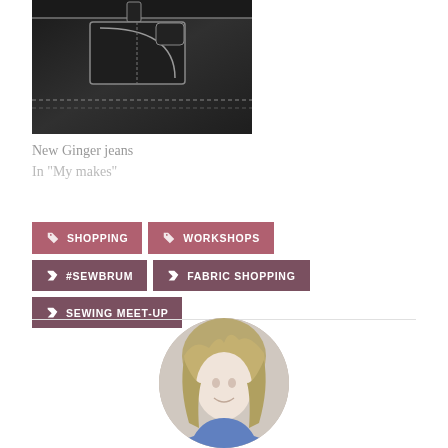[Figure (photo): Photo of dark navy/black jeans showing waistband, front pocket with yellow stitching detail]
New Ginger jeans
In "My makes"
SHOPPING
WORKSHOPS
#SEWBRUM
FABRIC SHOPPING
SEWING MEET-UP
[Figure (photo): Circular profile photo of a woman with curly blonde/light brown hair, smiling]